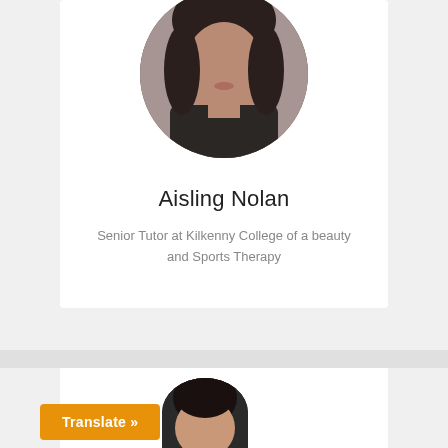[Figure (photo): Circular profile photo of Aisling Nolan, a woman with dark hair wearing a black turtleneck]
Aisling Nolan
Senior Tutor at Kilkenny College of a beauty and Sports Therapy
[Figure (photo): Partial circular profile photo of a second person with dark hair, partially cut off at bottom]
Translate »